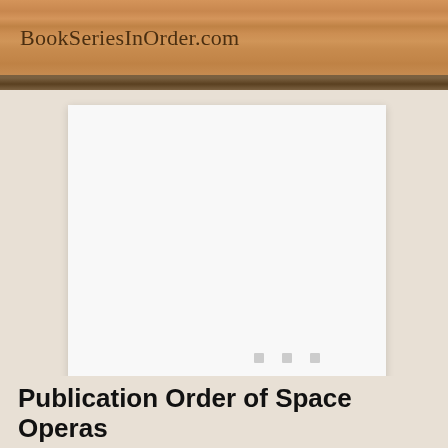BookSeriesInOrder.com
[Figure (screenshot): White card/panel with three small gray loading indicator squares in the center, displayed against a beige background]
Publication Order of Space Operas